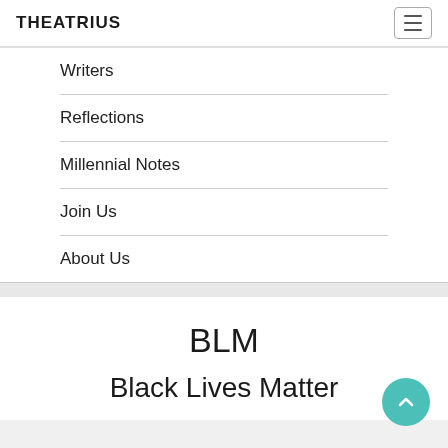THEATRIUS
Writers
Reflections
Millennial Notes
Join Us
About Us
BLM
Black Lives Matter